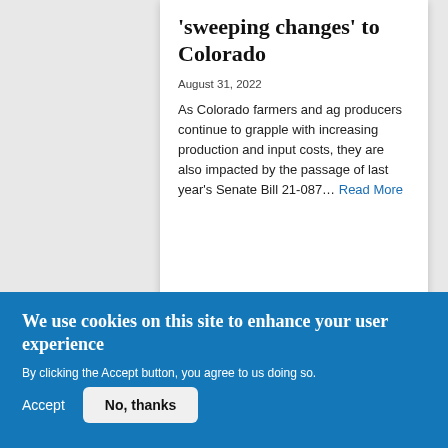'sweeping changes' to Colorado
August 31, 2022
As Colorado farmers and ag producers continue to grapple with increasing production and input costs, they are also impacted by the passage of last year's Senate Bill 21-087… Read More
We use cookies on this site to enhance your user experience
By clicking the Accept button, you agree to us doing so.
Accept
No, thanks